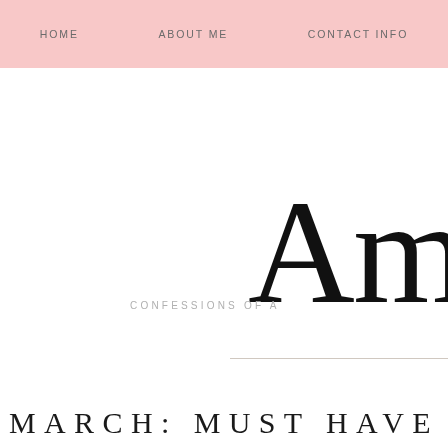HOME    ABOUT ME    CONTACT INFO
Am
CONFESSIONS OF A
MARCH: MUST HAVE